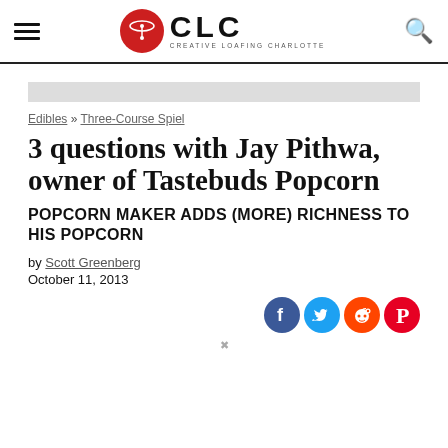CLC Creative Loafing Charlotte
Edibles » Three-Course Spiel
3 questions with Jay Pithwa, owner of Tastebuds Popcorn
POPCORN MAKER ADDS (MORE) RICHNESS TO HIS POPCORN
by Scott Greenberg
October 11, 2013